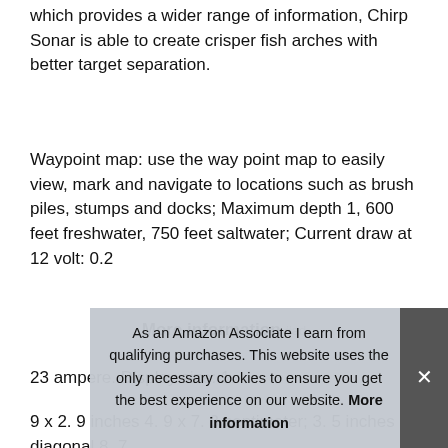which provides a wider range of information, Chirp Sonar is able to create crisper fish arches with better target separation.
Waypoint map: use the way point map to easily view, mark and navigate to locations such as brush piles, stumps and docks; Maximum depth 1, 600 feet freshwater, 750 feet saltwater; Current draw at 12 volt: 0.2
More information #ad
23 ampere. Display size: 1.
9 x 2. 9 inches 4. 9 x 7. 3 centimeter; 3. 5 inches diagonal 8. 7 centimeter; is in give of o data in the classic flasher format, ideal for ice fishing or
As an Amazon Associate I earn from qualifying purchases. This website uses the only necessary cookies to ensure you get the best experience on our website. More information